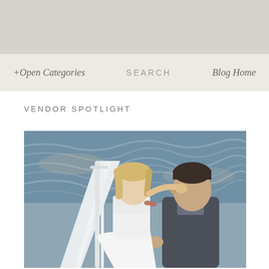[Figure (photo): Gray banner header area at top of page]
+Open Categories   SEARCH   Blog Home
VENDOR SPOTLIGHT
[Figure (photo): Wedding couple kissing on a boat deck with ocean water in the background. Bride in white strapless dress, groom in dark suit.]